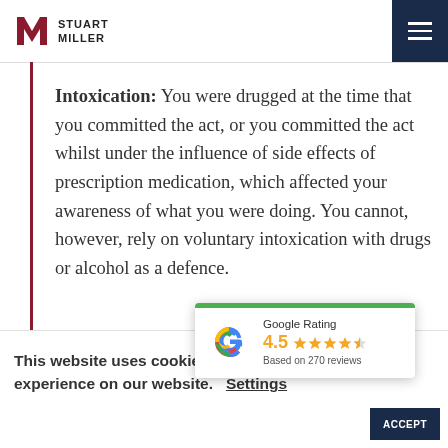Stuart Miller
Intoxication: You were drugged at the time that you committed the act, or you committed the act whilst under the influence of side effects of prescription medication, which affected your awareness of what you were doing. You cannot, however, rely on voluntary intoxication with drugs or alcohol as a defence.
[Figure (other): Google Rating widget showing 4.5 stars based on 270 reviews]
This website uses cookies to ensure you get the best experience on our website. Settings Accept